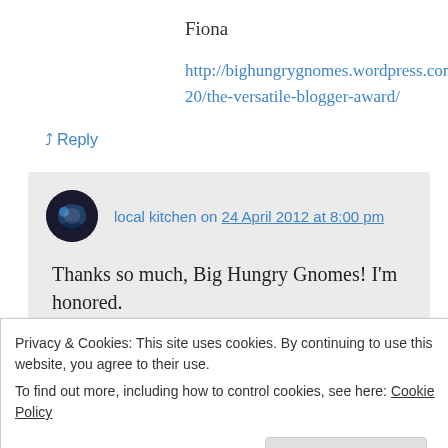Fiona
http://bighungrygnomes.wordpress.com/2012/04/20/the-versatile-blogger-award/
↳ Reply
local kitchen on 24 April 2012 at 8:00 pm
Thanks so much, Big Hungry Gnomes! I'm honored.
Privacy & Cookies: This site uses cookies. By continuing to use this website, you agree to their use.
To find out more, including how to control cookies, see here: Cookie Policy
Close and accept
2012 at 5:45 am